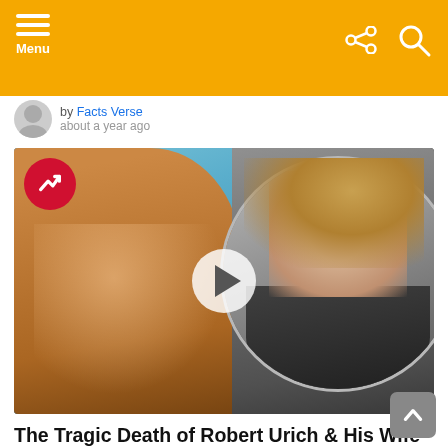Menu
by Facts Verse
about a year ago
[Figure (photo): Composite thumbnail image: left side shows a smiling man (Robert Urich) with his head resting on his hand against a blue background; right side shows a woman (his wife) in a dark jacket crying or distressed, shown in a circular frame. A white play button overlay is centered on the image. A red trending badge with an upward arrow is in the top-left corner.]
The Tragic Death of Robert Urich & His Wife
by Facts Verse
about a year ago